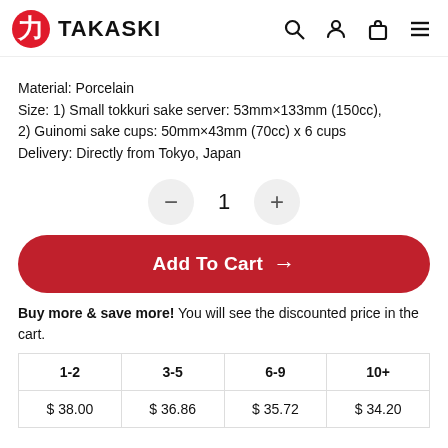TAKASKI
Material: Porcelain
Size: 1) Small tokkuri sake server: 53mm×133mm (150cc), 2) Guinomi sake cups: 50mm×43mm (70cc) x 6 cups
Delivery: Directly from Tokyo, Japan
[Figure (other): Quantity selector with minus button, number 1, and plus button]
[Figure (other): Add To Cart button with arrow, red rounded rectangle]
Buy more & save more! You will see the discounted price in the cart.
| 1-2 | 3-5 | 6-9 | 10+ |
| --- | --- | --- | --- |
| $ 38.00 | $ 36.86 | $ 35.72 | $ 34.20 |